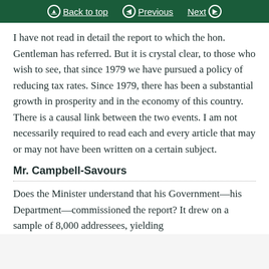Back to top | Previous | Next
I have not read in detail the report to which the hon. Gentleman has referred. But it is crystal clear, to those who wish to see, that since 1979 we have pursued a policy of reducing tax rates. Since 1979, there has been a substantial growth in prosperity and in the economy of this country. There is a causal link between the two events. I am not necessarily required to read each and every article that may or may not have been written on a certain subject.
Mr. Campbell-Savours
Does the Minister understand that his Government—his Department—commissioned the report? It drew on a sample of 8,000 addressees, yielding